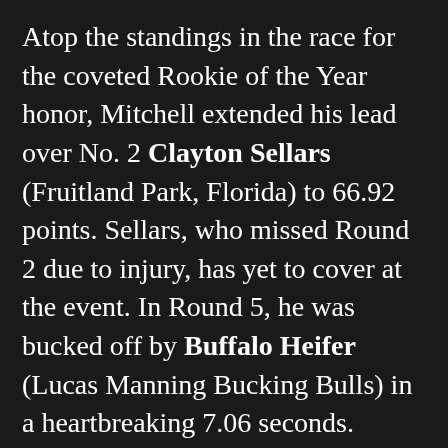Atop the standings in the race for the coveted Rookie of the Year honor, Mitchell extended his lead over No. 2 Clayton Sellars (Fruitland Park, Florida) to 66.92 points. Sellars, who missed Round 2 due to injury, has yet to cover at the event. In Round 5, he was bucked off by Buffalo Heifer (Lucas Manning Bucking Bulls) in a heartbreaking 7.06 seconds.
Returning to the Round 5 leaderboard, Dalton Kasel (Muleshoe, Texas) and Dener Barbosa (Paulo de Faria, Brazil) tied for second after logging matching 92-point rides. The duo covered Mr. Excavator (Cornwell Bucking Bulls) and Flapjack (Parker/OK Corralis/Gordon/D&H Cattle), respectively, each collecting $17,500 and 47 world points.